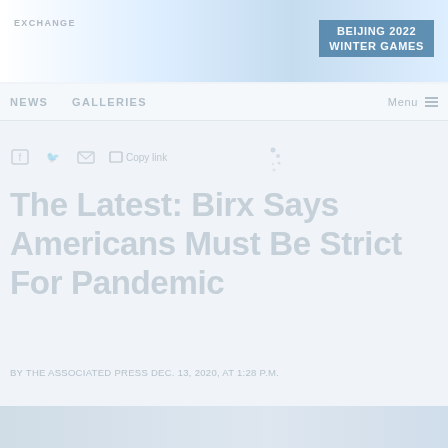EXCHANGE
[Figure (logo): Beijing 2022 Winter Games badge/logo in blue on light blue banner]
NEWS   GALLERIES   Menu
Copy link (social share icons: Facebook, Twitter, Email, Copy link)
The Latest: Birx Says Americans Must Be Strict For Pandemic
By The Associated Press Dec. 13, 2020, at 1:28 p.m.
[Figure (photo): Bottom image strip — partially visible photo at bottom of page]